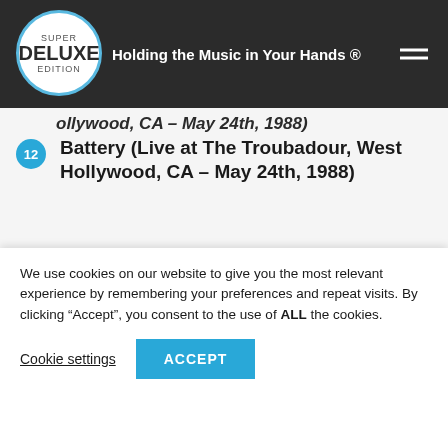Super Deluxe Edition — Holding the Music in Your Hands ®
Hollywood, CA – May 24th, 1988)
12 Battery (Live at The Troubadour, West Hollywood, CA – May 24th, 1988)
DISC TWO Tracks 1-4 previously unreleased. Tracks 5-12 newly remastered.
1 Encore Jam #2 (Live at The Troubadour,
[Figure (infographic): Blue banner with X close button and text: NEVER MISS A RELEASE.]
2 (partially visible)
We use cookies on our website to give you the most relevant experience by remembering your preferences and repeat visits. By clicking "Accept", you consent to the use of ALL the cookies.
Cookie settings | ACCEPT